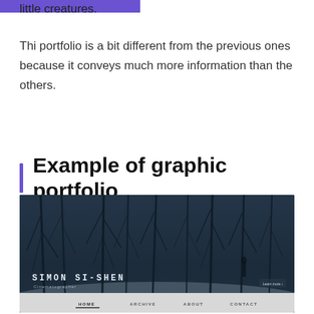little creatures.
Thi portfolio is a bit different from the previous ones because it conveys much more information than the others.
Example of graphic portfolio
[Figure (screenshot): Screenshot of Simon Si-Shen cinematographer portfolio website showing a dark forest winter scene with bare trees and snow. The name 'SIMON SI-SHEN' is displayed in white uppercase text with 'Cinematographer' subtitle below. A navigation bar at the bottom shows HOME, ARCHIVE, ABOUT, CONTACT links.]